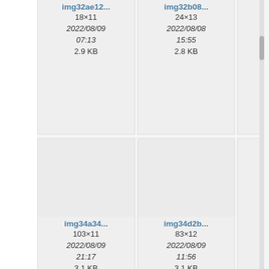[Figure (screenshot): File browser grid view showing image thumbnails with filenames, dimensions, dates, and sizes. Row 1 (partial, cropped at top): img32ae12... (18×11, 2022/08/09 07:13, 2.9 KB), img32b08... (24×13, 2022/08/08 15:55, 2.8 KB), third cell cut off. Row 2: img34a34... (103×11, 2022/08/09 21:17, 3.1 KB), img34d2b... (83×12, 2022/08/09 11:56, 3.1 KB), third cell cut off. Row 3 (partial, cropped at bottom): img35e90... (26×12), img36c73... (10×11), third cell cut off.]